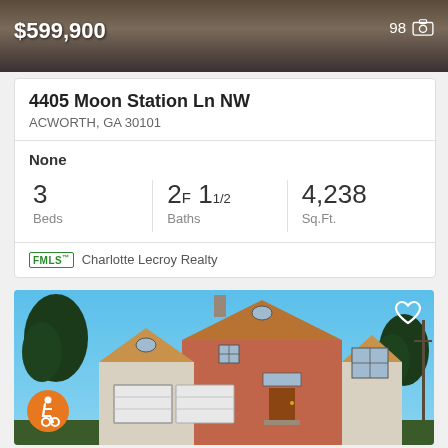[Figure (photo): Top cropped property photo showing dark textured background (roof/ground detail) with price overlay $599,900 and photo count 98]
4405 Moon Station Ln NW
ACWORTH, GA 30101
None
| Beds | Baths | Sq.Ft. |
| --- | --- | --- |
| 3 | 2F 11/2 | 4,238 |
FMLS Charlotte Lecroy Realty
[Figure (photo): Exterior photo of two-story brick and siding home with double garage, blue sky background, accessibility icon bottom left, heart/favorite icon top right]